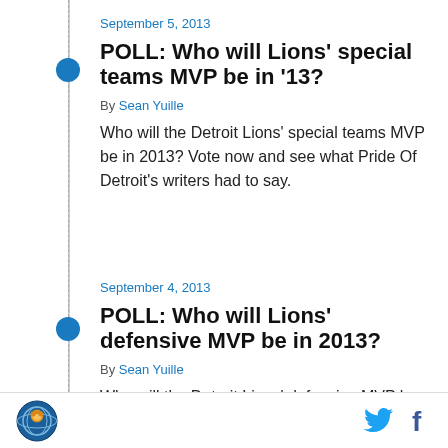September 5, 2013
POLL: Who will Lions' special teams MVP be in '13?
By Sean Yuille
Who will the Detroit Lions' special teams MVP be in 2013? Vote now and see what Pride Of Detroit's writers had to say.
September 4, 2013
POLL: Who will Lions' defensive MVP be in 2013?
By Sean Yuille
Who will the Detroit Lions' defensive MVP be in 2013? Vote now and see what Pride Of Detroit's
Pride of Detroit logo | Twitter | Facebook